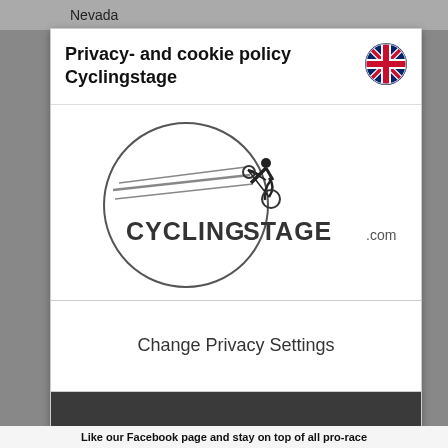Nevada
Privacy- and cookie policy Cyclingstage
[Figure (logo): Cycling Stage .com logo — a cyclist silhouette with speed lines inside a circle, with 'CYCLING STAGE.com' text]
Change Privacy Settings
I accept the privacy settings
Like our Facebook page and stay on top of all pro-race